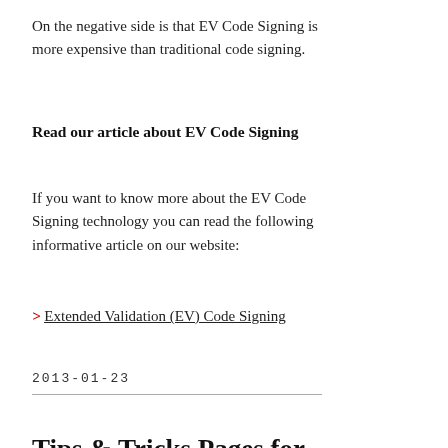On the negative side is that EV Code Signing is more expensive than traditional code signing.
Read our article about EV Code Signing
If you want to know more about the EV Code Signing technology you can read the following informative article on our website:
> Extended Validation (EV) Code Signing
2013-01-23
Tips & Tricks Pages for SamLogic Software's